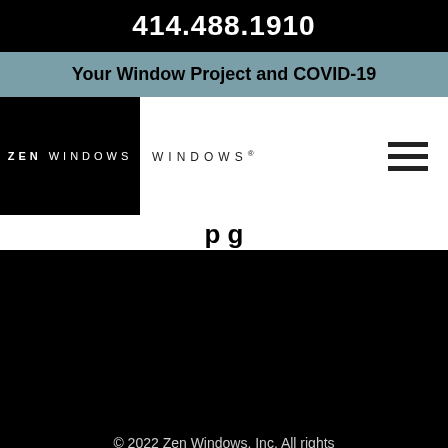414.488.1910
Your Window Project and COVID-19
[Figure (logo): Zen Windows logo — black square with 'ZEN WINDOWS' text in spaced white letters, followed by 'WINDOWS' in spaced letters on white background; hamburger menu icon on right]
p g
© 2022 Zen Windows, Inc. All rights